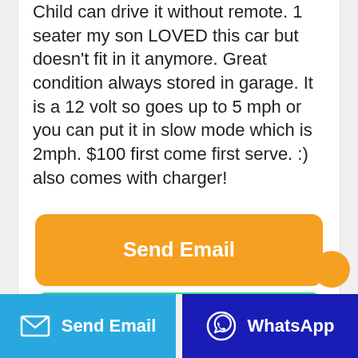Child can drive it without remote. 1 seater my son LOVED this car but doesn't fit in it anymore. Great condition always stored in garage. It is a 12 volt so goes up to 5 mph or you can put it in slow mode which is 2mph. $100 first come first serve. :) also comes with charger!
[Figure (screenshot): Orange 'Send Email' button and green 'WhatsApp' button centered on white background]
[Figure (screenshot): Bottom navigation bar with blue 'Send Email' button (with envelope icon) on the left and dark blue 'WhatsApp' button (with WhatsApp icon) on the right]